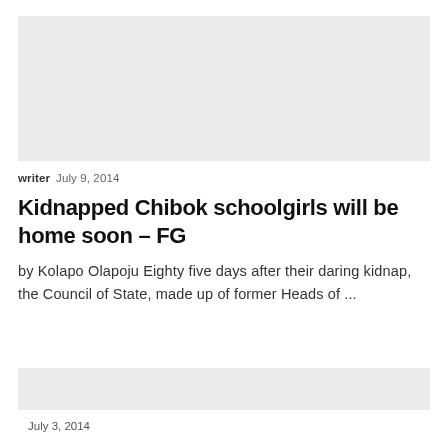[Figure (photo): Gray placeholder image block at top of article]
writer  July 9, 2014
Kidnapped Chibok schoolgirls will be home soon – FG
by Kolapo Olapoju Eighty five days after their daring kidnap, the Council of State, made up of former Heads of ...
[Figure (photo): Gray placeholder image block for second article]
July 3, 2014